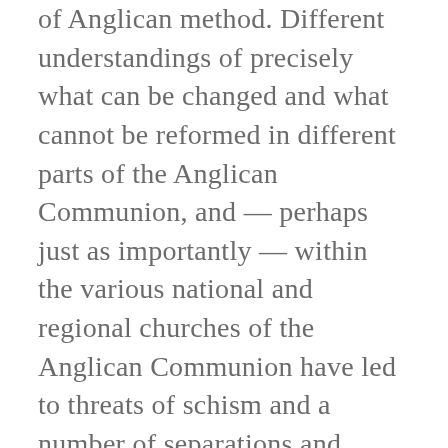of Anglican method. Different understandings of precisely what can be changed and what cannot be reformed in different parts of the Anglican Communion, and — perhaps just as importantly — within the various national and regional churches of the Anglican Communion have led to threats of schism and a number of separations and cross-boundary disputes. The key difference between the current situation and that (say) of 1662 is that there are simply no legal mechanisms to ensure conformity between the provinces or to decide under which category a particular action or change falls. The historic bonds of affection are not